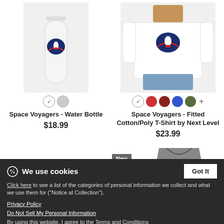[Figure (photo): White water bottle with Space Voyagers logo (rocket/astronaut semicircle badge in navy/red)]
[Figure (photo): Man wearing white fitted t-shirt with Space Voyagers logo on chest]
Space Voyagers - Water Bottle
$18.99
Space Voyagers - Fitted Cotton/Poly T-Shirt by Next Level
$23.99
[Figure (photo): New baseball raglan shirt in dark grey/white with Space Voyagers logo]
New
We use cookies
Click here to see a list of the categories of personal information we collect and what we use them for ("Notice at Collection").
Privacy Policy
Do Not Sell My Personal Information
By using this website, I agree to the Terms and Conditions
Got It